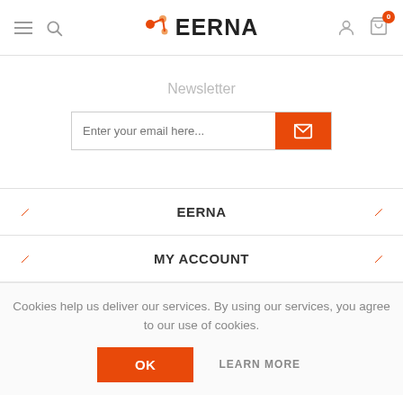EERNA - navigation header with menu, search, logo, account and cart icons
Newsletter
Enter your email here...
EERNA
MY ACCOUNT
Cookies help us deliver our services. By using our services, you agree to our use of cookies.
OK
LEARN MORE